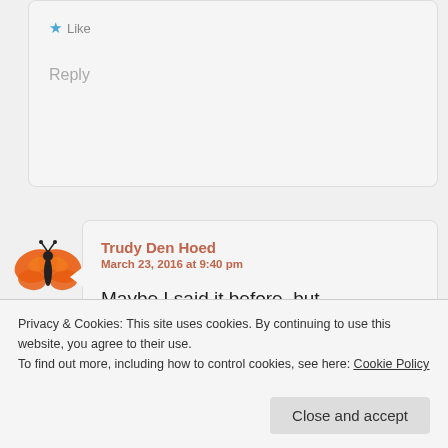★ Like
Reply
[Figure (illustration): Orange butterfly avatar/emoji]
Trudy Den Hoed
March 23, 2016 at 9:40 pm
Maybe I said it before, but Congratulations on your book! I didn't know it was through the publishing stage yet. I just ordered it from Amazon.
Privacy & Cookies: This site uses cookies. By continuing to use this website, you agree to their use.
To find out more, including how to control cookies, see here: Cookie Policy
Close and accept